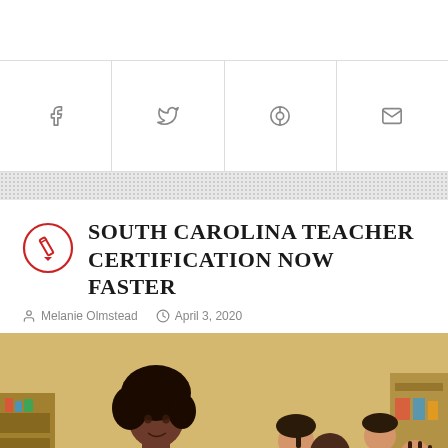[Figure (infographic): Social media share icons row: Facebook (f), Twitter (bird), Pinterest (P), Email (envelope)]
SOUTH CAROLINA TEACHER CERTIFICATION NOW FASTER
Melanie Olmstead   April 3, 2020
[Figure (photo): A young Black female teacher standing in a classroom smiling at the camera, with multiple elementary-age students working at desks behind her. Classroom has yellow walls and colorful educational materials.]